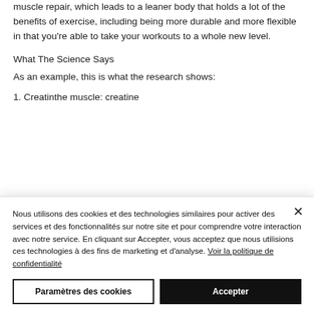muscle repair, which leads to a leaner body that holds a lot of the benefits of exercise, including being more durable and more flexible in that you're able to take your workouts to a whole new level.
What The Science Says
As an example, this is what the research shows:
1. Creatinthe muscle: creatine
Nous utilisons des cookies et des technologies similaires pour activer des services et des fonctionnalités sur notre site et pour comprendre votre interaction avec notre service. En cliquant sur Accepter, vous acceptez que nous utilisions ces technologies à des fins de marketing et d'analyse. Voir la politique de confidentialité
Paramètres des cookies
Accepter